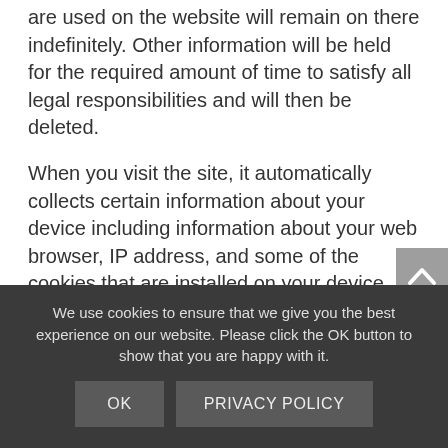are used on the website will remain on there indefinitely. Other information will be held for the required amount of time to satisfy all legal responsibilities and will then be deleted.
When you visit the site, it automatically collects certain information about your device including information about your web browser, IP address, and some of the cookies that are installed on your device. Additionally, as you browse the site, it collects information about the pages you view and the search terms you use and how you interact with the site. This information is used to improve and optimise your shopping experience and to create analytics.
We use cookies to ensure that we give you the best experience on our website. Please click the OK button to show that you are happy with it.